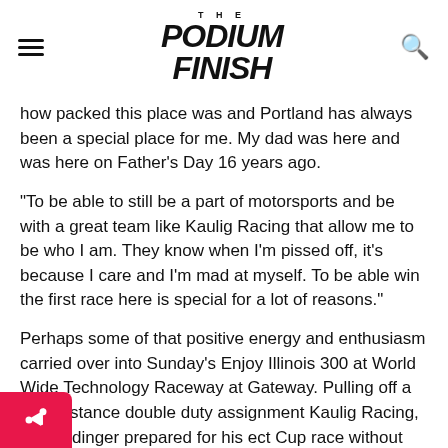THE PODIUM FINISH
how packed this place was and Portland has always been a special place for me. My dad was here and was here on Father’s Day 16 years ago.
“To be able to still be a part of motorsports and be with a great team like Kaulig Racing that allow me to be who I am. They know when I’m pissed off, it’s because I care and I’m mad at myself. To be able win the first race here is special for a lot of reasons.”
Perhaps some of that positive energy and enthusiasm carried over into Sunday’s Enjoy Illinois 300 at World Wide Technology Raceway at Gateway. Pulling off a long distance double duty assignment Kaulig Racing, Allmendinger prepared for his ect Cup race without any seat time in his No. 16